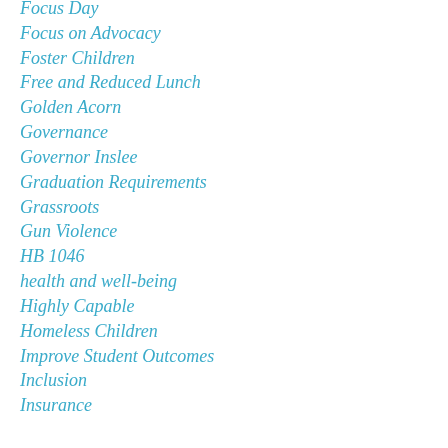Focus Day
Focus on Advocacy
Foster Children
Free and Reduced Lunch
Golden Acorn
Governance
Governor Inslee
Graduation Requirements
Grassroots
Gun Violence
HB 1046
health and well-being
Highly Capable
Homeless Children
Improve Student Outcomes
Inclusion
Insurance